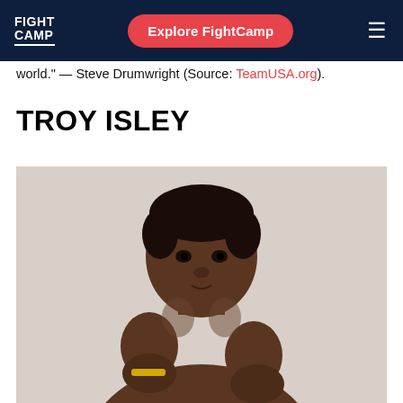FIGHT CAMP | Explore FightCamp
world." — Steve Drumwright (Source: TeamUSA.org).
TROY ISLEY
[Figure (photo): Troy Isley, a young male boxer, shirtless, in a fighting stance with fists raised, against a light grey background. He is muscular and wearing a yellow wristband.]